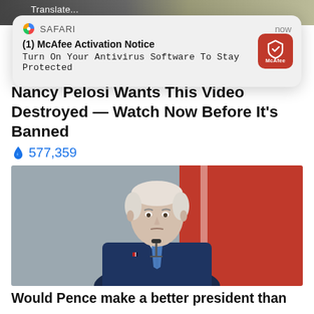[Figure (screenshot): Top strip of a webpage with background images partially visible and a 'Translate' label.]
[Figure (screenshot): Safari browser notification popup: (1) McAfee Activation Notice - Turn On Your Antivirus Software To Stay Protected, with McAfee red shield icon on right, 'SAFARI' and 'now' labels at top.]
Nancy Pelosi Wants This Video Destroyed — Watch Now Before It's Banned
🔥 577,359
[Figure (photo): Photo of Mike Pence in a dark navy suit with blue striped tie, speaking at a microphone, with a red background behind him.]
Would Pence make a better president than